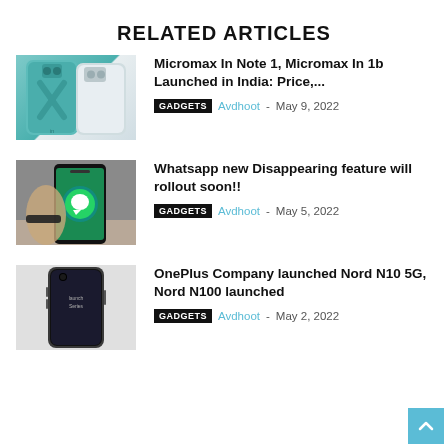RELATED ARTICLES
[Figure (photo): Two smartphones (teal and white) shown from the back]
Micromax In Note 1, Micromax In 1b Launched in India: Price,...
GADGETS  Avdhoot - May 9, 2022
[Figure (photo): Hand holding a smartphone displaying WhatsApp logo on a dark background]
Whatsapp new Disappearing feature will rollout soon!!
GADGETS  Avdhoot - May 5, 2022
[Figure (photo): OnePlus smartphone shown from the front]
OnePlus Company launched Nord N10 5G, Nord N100 launched
GADGETS  Avdhoot - May 2, 2022